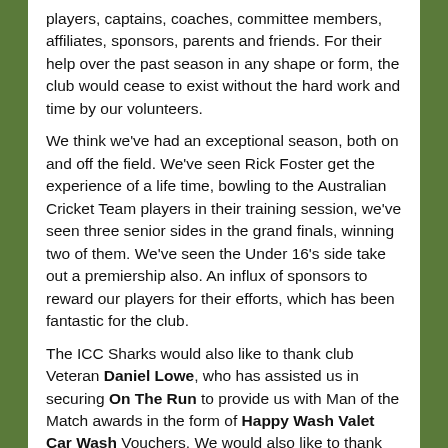players, captains, coaches, committee members, affiliates, sponsors, parents and friends. For their help over the past season in any shape or form, the club would cease to exist without the hard work and time by our volunteers.
We think we've had an exceptional season, both on and off the field. We've seen Rick Foster get the experience of a life time, bowling to the Australian Cricket Team players in their training session, we've seen three senior sides in the grand finals, winning two of them. We've seen the Under 16's side take out a premiership also. An influx of sponsors to reward our players for their efforts, which has been fantastic for the club.
The ICC Sharks would also like to thank club Veteran Daniel Lowe, who has assisted us in securing On The Run to provide us with Man of the Match awards in the form of Happy Wash Valet Car Wash Vouchers. We would also like to thank Daniel for his efforts at the Club